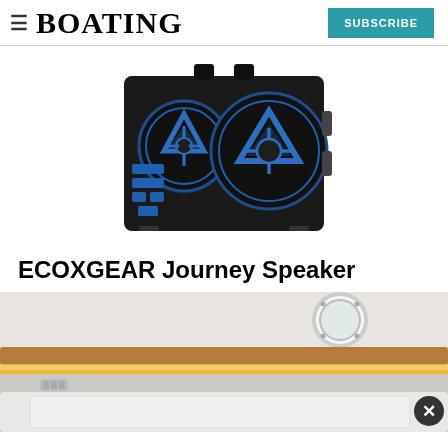≡  BOATING    SUBSCRIBE
[Figure (photo): ECOXGEAR Journey Speaker — a black rugged portable speaker with blue dual speaker design and blue control buttons, shown on white background]
ECOXGEAR Journey Speaker
[Figure (photo): Interior of a boat cabin showing warm amber LED under-cabinet lighting, wooden trim rail, a circular porthole window, white upholstered surfaces, and a partially visible close (X) button in the lower right corner]